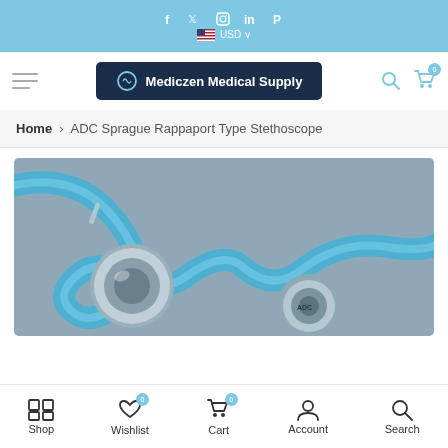f  tw  in  P  USD
[Figure (logo): Mediczen Medical Supply logo on dark navy background]
Home > ADC Sprague Rappaport Type Stethoscope
[Figure (photo): Close-up photo of a blue Sprague Rappaport type stethoscope showing blue tubing and chrome chest piece]
Shop   Wishlist 0   Cart 0   Account   Search